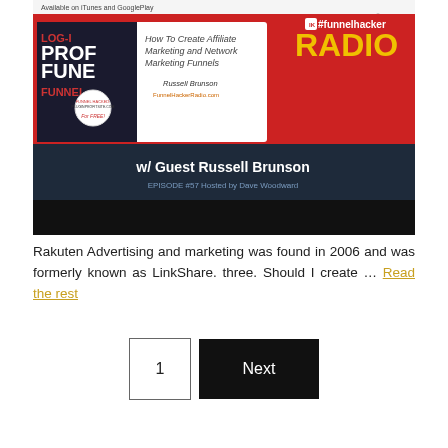[Figure (illustration): Podcast promotional image for #funnelhacker RADIO, Episode #57 with Guest Russell Brunson, Hosted by Dave Woodward. Features a book 'Plug-In Profit Funnel' and text 'How To Create Affiliate Marketing and Network Marketing Funnels' by Russell Brunson. Available on iTunes and GooglePlay.]
Rakuten Advertising and marketing was found in 2006 and was formerly known as LinkShare. three. Should I create … Read the rest
1
Next